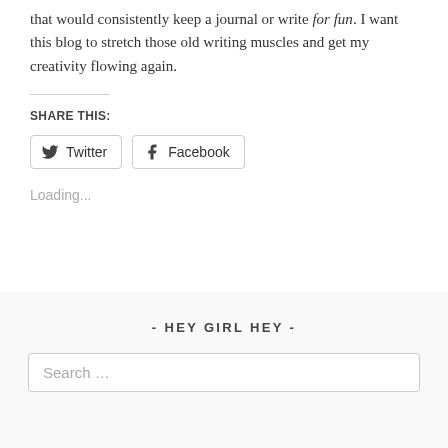that would consistently keep a journal or write for fun. I want this blog to stretch those old writing muscles and get my creativity flowing again.
SHARE THIS:
[Figure (screenshot): Twitter and Facebook share buttons with icons]
Loading...
- HEY GIRL HEY -
Search ...